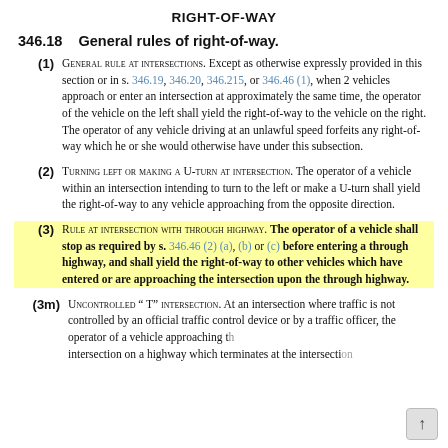RIGHT-OF-WAY
346.18   General rules of right-of-way.
(1) General rule at intersections. Except as otherwise expressly provided in this section or in s. 346.19, 346.20, 346.215, or 346.46 (1), when 2 vehicles approach or enter an intersection at approximately the same time, the operator of the vehicle on the left shall yield the right-of-way to the vehicle on the right. The operator of any vehicle driving at an unlawful speed forfeits any right-of-way which he or she would otherwise have under this subsection.
(2) Turning left or making a U-turn at intersection. The operator of a vehicle within an intersection intending to turn to the left or make a U-turn shall yield the right-of-way to any vehicle approaching from the opposite direction.
(3) Rule at intersection with through highway. The operator of a vehicle shall stop as required by s. 346.46 (2) (a), (b) or (c) before entering a through highway, and shall yield the right-of-way to other vehicles which have entered or are approaching the intersection upon the through highway.
(3m) Uncontrolled " t" intersection. At an intersection where traffic is not controlled by an official traffic control device or by a traffic officer, the operator of a vehicle approaching the intersection on a highway which terminates at the intersection